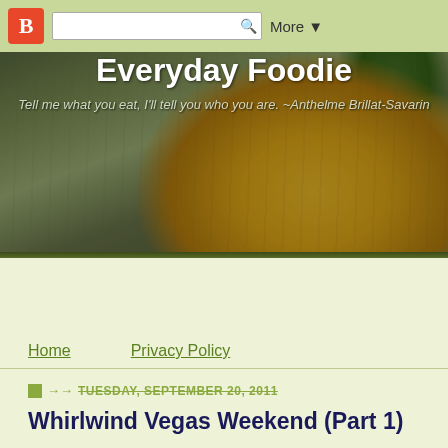Blogger navigation bar with search and More button
[Figure (photo): Blog header banner with food photography background (lemons, green leaf on flour-dusted surface). Shows blog title 'Everyday Foodie' and subtitle quote.]
Everyday Foodie
Tell me what you eat, I'll tell you who you are. ~Anthelme Brillat-Savarin
Home    Privacy Policy
TUESDAY, SEPTEMBER 20, 2011
Whirlwind Vegas Weekend (Part 1)
Late last night we arrived home from a whirlwind, weekend trip to L